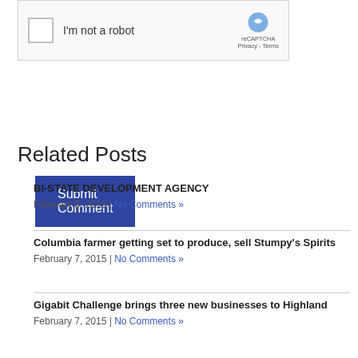[Figure (screenshot): reCAPTCHA widget with checkbox labeled 'I'm not a robot' and reCAPTCHA logo with Privacy and Terms links]
Submit Comment
Related Posts
BI-STATE DEVELOPMENT AGENCY
February 8, 2015 | No Comments »
Columbia farmer getting set to produce, sell Stumpy's Spirits
February 7, 2015 | No Comments »
Gigabit Challenge brings three new businesses to Highland
February 7, 2015 | No Comments »